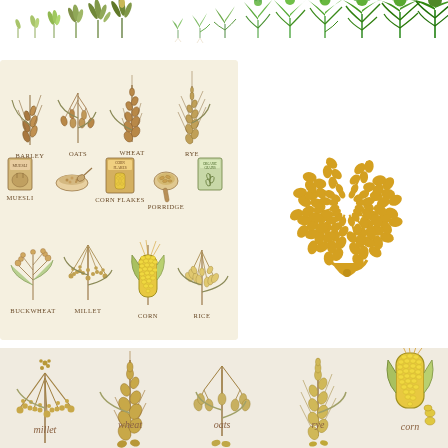[Figure (illustration): Top strip showing various stages of grain/plant growth from seedlings to mature plants, in green colors, across the full width]
[Figure (illustration): Left panel on beige background: hand-drawn sketches of grains and cereals including barley, oats, wheat, rye (top row), muesli, corn flakes, porridge packages and bowl (middle row), buckwheat, millet, corn, rice plants (bottom row) with labels]
[Figure (illustration): Right panel: golden wheat wreath/laurel wreath in circular form made of wheat stalks with grain ears, in golden/amber color]
[Figure (illustration): Bottom panel on beige background: large hand-drawn illustrations of grain plants: millet, wheat, oats, rye, corn with italic script labels, and partial bottom row with more grain plants]